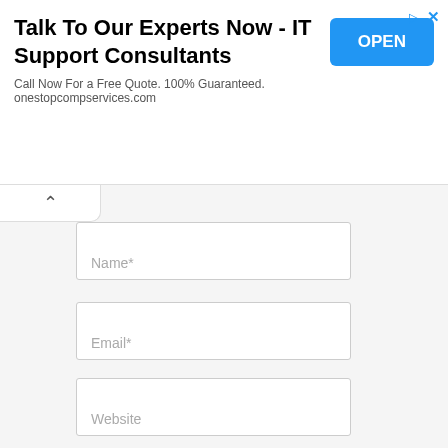[Figure (screenshot): Advertisement banner: 'Talk To Our Experts Now - IT Support Consultants' with OPEN button, call to action text and website URL onestopcompservices.com]
Name*
Email*
Website
Post Comment »
This site uses Akismet to reduce spam. Learn how your comment data is processed.